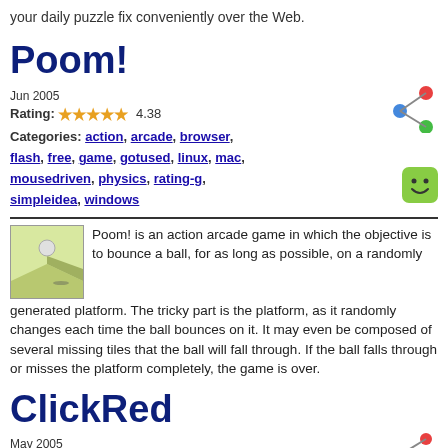your daily puzzle fix conveniently over the Web.
Poom!
Jun 2005
Rating: ★★★★½ 4.38
Categories: action, arcade, browser, flash, free, game, gotused, linux, mac, mousedriven, physics, rating-g, simpleidea, windows
Poom! is an action arcade game in which the objective is to bounce a ball, for as long as possible, on a randomly generated platform. The tricky part is the platform, as it randomly changes each time the ball bounces on it. It may even be composed of several missing tiles that the ball will fall through. If the ball falls through or misses the platform completely, the game is over.
ClickRed
May 2005